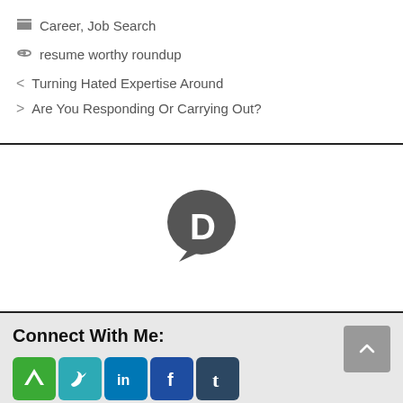Career, Job Search
resume worthy roundup
< Turning Hated Expertise Around
> Are You Responding Or Carrying Out?
[Figure (logo): Disqus comment system logo — dark grey speech bubble with letter D]
Connect With Me:
[Figure (infographic): Social media icons row 1: About.me (green), Twitter (teal), LinkedIn (blue), Facebook (dark blue), Tumblr (dark blue-grey)]
[Figure (infographic): Social media icons row 2: RSS/orange, grey, purple, Google/grey]